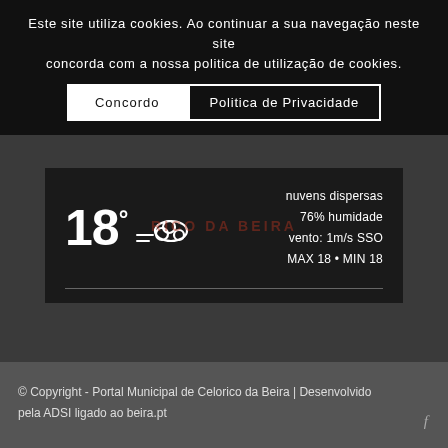Este site utiliza cookies. Ao continuar a sua navegação neste site concorda com a nossa politica de utilização de cookies.
Concordo
Politica de Privacidade
RICO DA BEIRA
[Figure (infographic): Weather widget showing 18 degrees with scattered clouds icon, wind lines. Right side shows: nuvens dispersas, 76% humidade, vento: 1m/s SSO, MAX 18 • MIN 18]
© Copyright - Portal Municipal de Celorico da Beira | Desenvolvido pela ADSI ligado ao beira.pt